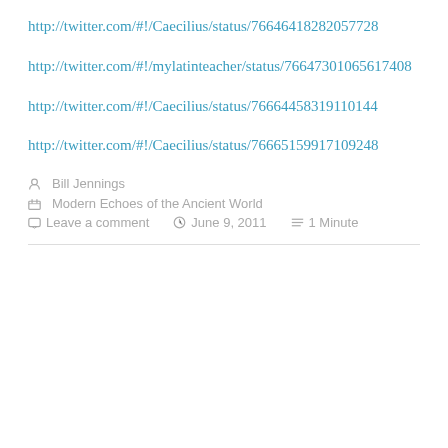http://twitter.com/#!/Caecilius/status/766464182820577728
http://twitter.com/#!/mylatinteacher/status/766473010656174​08
http://twitter.com/#!/Caecilius/status/766644583191101​44
http://twitter.com/#!/Caecilius/status/766651599171092​48
Bill Jennings
Modern Echoes of the Ancient World
Leave a comment   June 9, 2011   1 Minute